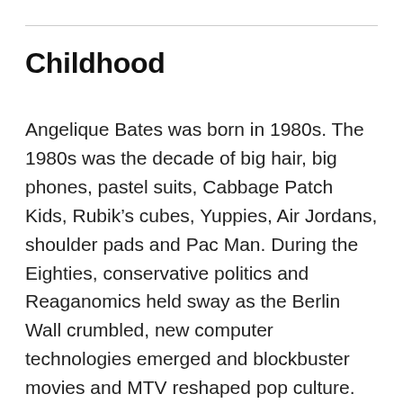Childhood
Angelique Bates was born in 1980s. The 1980s was the decade of big hair, big phones, pastel suits, Cabbage Patch Kids, Rubik’s cubes, Yuppies, Air Jordans, shoulder pads and Pac Man. During the Eighties, conservative politics and Reaganomics held sway as the Berlin Wall crumbled, new computer technologies emerged and blockbuster movies and MTV reshaped pop culture. Discover what happened on this day.